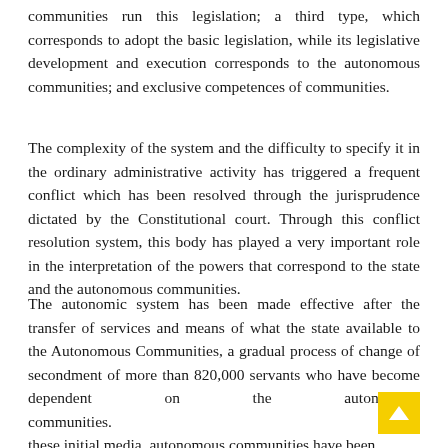communities run this legislation; a third type, which corresponds to adopt the basic legislation, while its legislative development and execution corresponds to the autonomous communities; and exclusive competences of communities.
The complexity of the system and the difficulty to specify it in the ordinary administrative activity has triggered a frequent conflict which has been resolved through the jurisprudence dictated by the Constitutional court. Through this conflict resolution system, this body has played a very important role in the interpretation of the powers that correspond to the state and the autonomous communities.
The autonomic system has been made effective after the transfer of services and means of what the state available to the Autonomous Communities, a gradual process of change of secondment of more than 820,000 servants who have become dependent on the autonomous communities. these initial media, autonomous communities have been